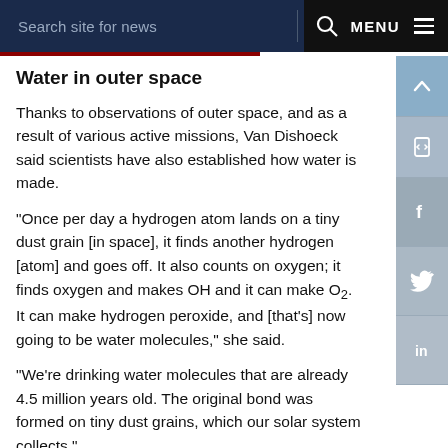Search site for news  MENU
Water in outer space
Thanks to observations of outer space, and as a result of various active missions, Van Dishoeck said scientists have also established how water is made.
“Once per day a hydrogen atom lands on a tiny dust grain [in space], it finds another hydrogen [atom] and goes off. It also counts on oxygen; it finds oxygen and makes OH and it can make O₂. It can make hydrogen peroxide, and [that’s] now going to be water molecules,” she said.
“We’re drinking water molecules that are already 4.5 million years old. The original bond was formed on tiny dust grains, which our solar system collects.”
Astronomy and tech